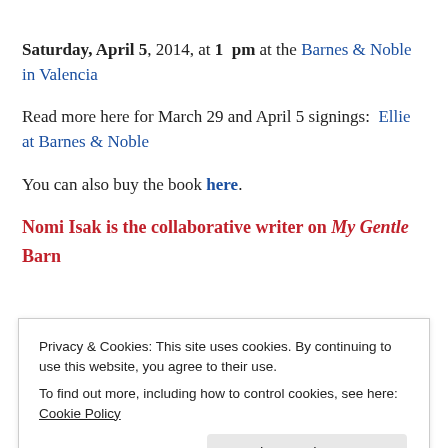Saturday, April 5, 2014, at 1 pm at the Barnes & Noble in Valencia
Read more here for March 29 and April 5 signings: Ellie at Barnes & Noble
You can also buy the book here.
Nomi Isak is the collaborative writer on My Gentle Barn
Privacy & Cookies: This site uses cookies. By continuing to use this website, you agree to their use.
To find out more, including how to control cookies, see here: Cookie Policy
Close and accept
Share